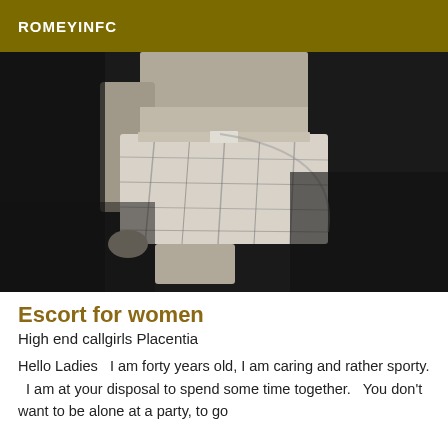ROMEYINFC
[Figure (photo): Black and white photograph showing the torso and lower body of a person wearing plaid shorts, sitting on what appears to be a wooden surface. The image is cropped showing the midsection only.]
Escort for women
High end callgirls Placentia
Hello Ladies  I am forty years old, I am caring and rather sporty.  I am at your disposal to spend some time together.  You don't want to be alone at a party, to go